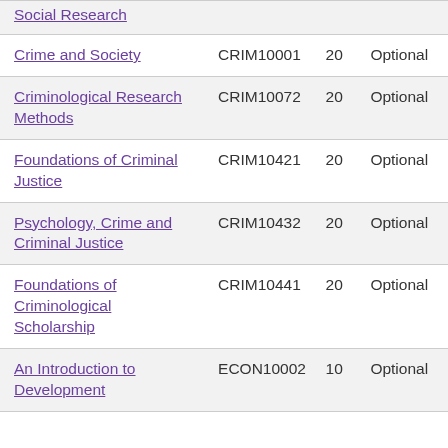| Module | Code | Credits | Status |
| --- | --- | --- | --- |
| Social Research |  |  |  |
| Crime and Society | CRIM10001 | 20 | Optional |
| Criminological Research Methods | CRIM10072 | 20 | Optional |
| Foundations of Criminal Justice | CRIM10421 | 20 | Optional |
| Psychology, Crime and Criminal Justice | CRIM10432 | 20 | Optional |
| Foundations of Criminological Scholarship | CRIM10441 | 20 | Optional |
| An Introduction to Development | ECON10002 | 10 | Optional |